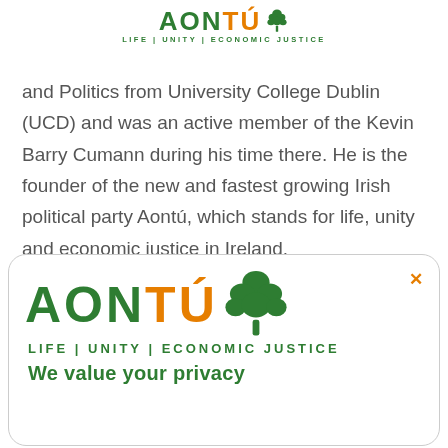[Figure (logo): Aontú party logo with tree icon and tagline LIFE | UNITY | ECONOMIC JUSTICE in green]
and Politics from University College Dublin (UCD) and was an active member of the Kevin Barry Cumann during his time there. He is the founder of the new and fastest growing Irish political party Aontú, which stands for life, unity and economic justice in Ireland.
[Figure (logo): Aontú party logo (large) in modal/cookie consent box with LIFE | UNITY | ECONOMIC JUSTICE tagline and partial text 'We value your privacy' at the bottom]